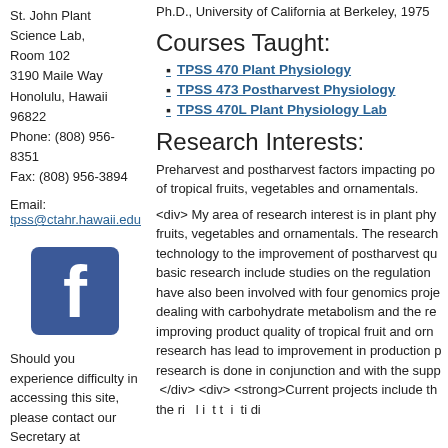Ph.D., University of California at Berkeley, 1975
St. John Plant Science Lab, Room 102
3190 Maile Way
Honolulu, Hawaii 96822
Phone: (808) 956-8351
Fax: (808) 956-3894
Email:
tpss@ctahr.hawaii.edu
[Figure (logo): Facebook logo icon - blue square with white letter f]
Should you experience difficulty in accessing this site, please contact our Secretary at tpss@ctahr.hawaii.edu.
Courses Taught:
TPSS 470 Plant Physiology
TPSS 473 Postharvest Physiology
TPSS 470L Plant Physiology Lab
Research Interests:
Preharvest and postharvest factors impacting po of tropical fruits, vegetables and ornamentals.
<div> My area of research interest is in plant phy fruits, vegetables and ornamentals. The research technology to the improvement of postharvest qu basic research include studies on the regulation have also been involved with four genomics proje dealing with carbohydrate metabolism and the re improving product quality of tropical fruit and orn research has lead to improvement in production p research is done in conjunction and with the supp </div> <div> <strong>Current projects include th the ri l i t t i ti di